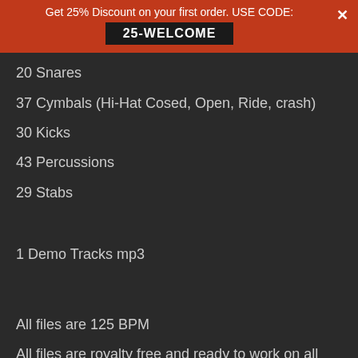Get 25% Discount on your first order. USE CODE: 25-WELCOME
20 Snares
37 Cymbals (Hi-Hat Cosed, Open, Ride, crash)
30 Kicks
43 Percussions
29 Stabs
1 Demo Tracks mp3
All files are 125 BPM
All files are royalty free and ready to work on all major music